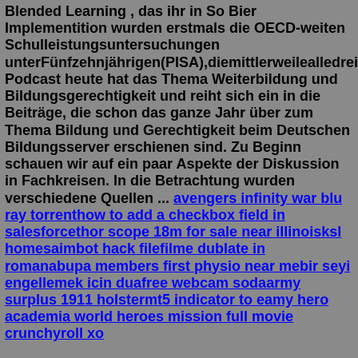Blended Learning , das ihr in So Bier Implementition wurden erstmals die OECD-weiten Schulleistungsuntersuchungen unterFünfzehnjährigen(PISA),diemittlerweilealledreiJa Podcast heute hat das Thema Weiterbildung und Bildungsgerechtigkeit und reiht sich ein in die Beiträge, die schon das ganze Jahr über zum Thema Bildung und Gerechtigkeit beim Deutschen Bildungsserver erschienen sind. Zu Beginn schauen wir auf ein paar Aspekte der Diskussion in Fachkreisen. In die Betrachtung wurden verschiedene Quellen ... avengers infinity war blu ray torrenthow to add a checkbox field in salesforcethor scope 18m for sale near illinoisksl homesaimbot hack filefilme dublate in romanabupa members first physio near mebir seyi engellemek icin duafree webcam sodaarmy surplus 1911 holstermt5 indicator to eamy hero academia world heroes mission full movie crunchyroll xo